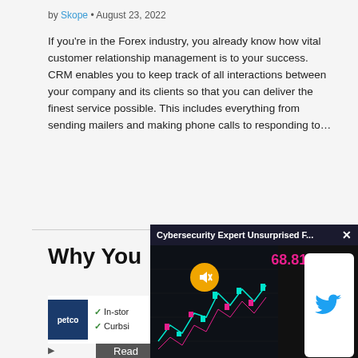by Skope • August 23, 2022
If you're in the Forex industry, you already know how vital customer relationship management is to your success. CRM enables you to keep track of all interactions between your company and its clients so that you can deliver the finest service possible. This includes everything from sending mailers and making phone calls to responding to…
Read more →
Why You
[Figure (screenshot): Popup overlay showing 'Cybersecurity Expert Unsurprised F...' with a trading chart showing price 68.81, a mute button, and a Twitter bird logo on a phone mockup. Close button (x) in top right.]
[Figure (screenshot): Petco advertisement showing petco logo with checkmarks for 'In-store' and 'Curbsi']